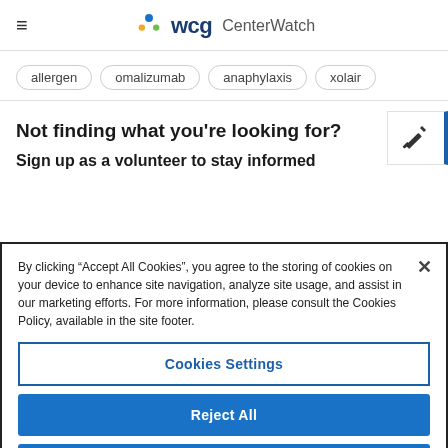WCG CenterWatch
allergen
omalizumab
anaphylaxis
xolair
Not finding what you're looking for?
Sign up as a volunteer to stay informed
By clicking “Accept All Cookies”, you agree to the storing of cookies on your device to enhance site navigation, analyze site usage, and assist in our marketing efforts. For more information, please consult the Cookies Policy, available in the site footer.
Cookies Settings
Reject All
Accept All Cookies